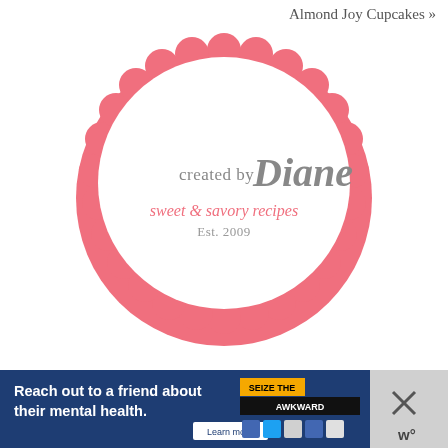Almond Joy Cupcakes »
[Figure (logo): Created by Diane logo — pink scalloped circle border with cursive 'created by Diane' text in gray/pink, subtitle 'sweet & savory recipes' in pink script, 'Est. 2009' in gray beneath]
[Figure (infographic): Advertisement banner: 'Reach out to a friend about their mental health. Learn more' with 'SEIZE THE AWKWARD' badge and mental health organization logos, with an X close button and 'w°' watermark]